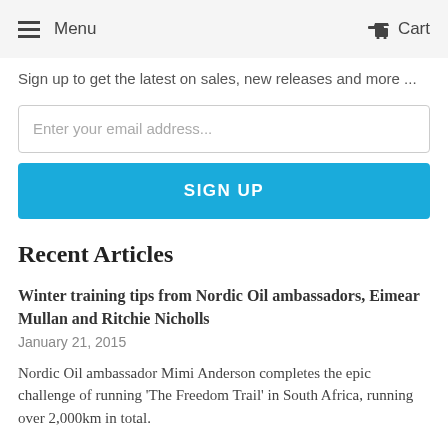Menu   Cart
Sign up to get the latest on sales, new releases and more ...
Enter your email address...
SIGN UP
Recent Articles
Winter training tips from Nordic Oil ambassadors, Eimear Mullan and Ritchie Nicholls
January 21, 2015
Nordic Oil ambassador Mimi Anderson completes the epic challenge of running 'The Freedom Trail' in South Africa, running over 2,000km in total.